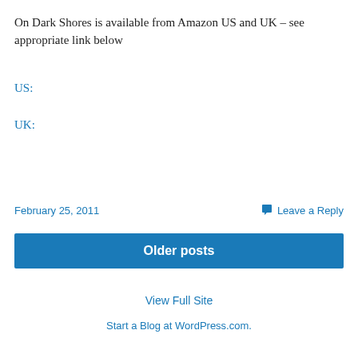On Dark Shores is available from Amazon US and UK – see appropriate link below
US:
UK:
February 25, 2011
Leave a Reply
Older posts
View Full Site
Start a Blog at WordPress.com.